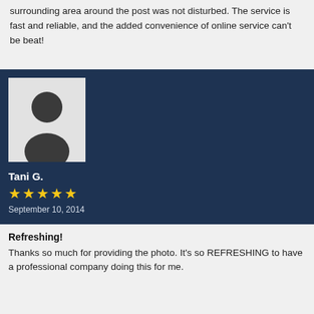surrounding area around the post was not disturbed. The service is fast and reliable, and the added convenience of online service can't be beat!
[Figure (illustration): Default user avatar placeholder image showing a silhouette of a person (head and shoulders) in dark gray on a light gray background.]
Tani G.
★★★★★
September 10, 2014
Refreshing!
Thanks so much for providing the photo. It's so REFRESHING to have a professional company doing this for me.